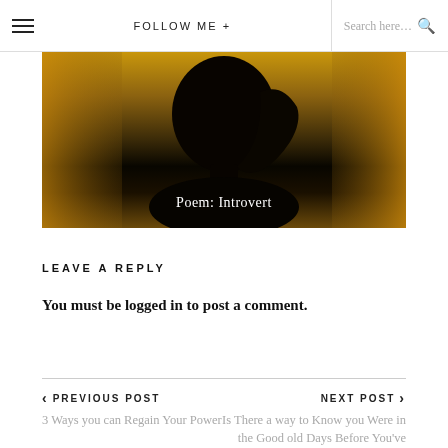FOLLOW ME +   Search here...
[Figure (photo): Dark silhouette of a person with curly hair against a warm amber/golden background, with text overlay 'Poem: Introvert']
Poem: Introvert
LEAVE A REPLY
You must be logged in to post a comment.
PREVIOUS POST
3 Ways you can Regain Your Power
NEXT POST
Is There a way to Know you Were in the Good old Days Before You've Actually Left Them?